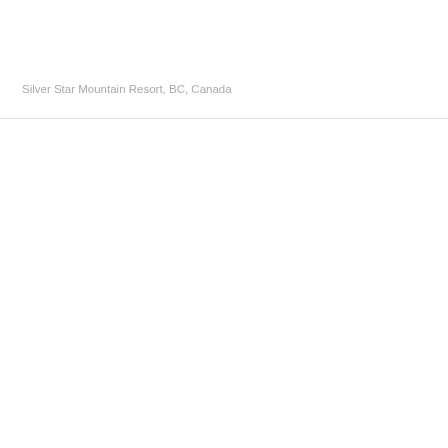Silver Star Mountain Resort, BC, Canada